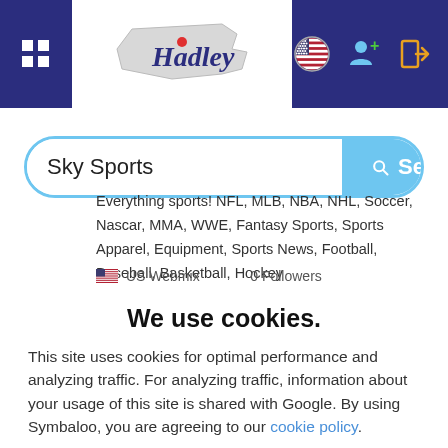[Figure (screenshot): Website header with navy blue background, grid icon on left, Hadley Massachusetts logo in white center panel, and icons (US flag, add person, login) on the right]
[Figure (screenshot): Search bar with 'Sky Sports' typed in, and a blue Search button on the right]
Everything sports! NFL, MLB, NBA, NHL, Soccer, Nascar, MMA, WWE, Fantasy Sports, Sports Apparel, Equipment, Sports News, Football, Baseball, Basketball, Hockey
US Webmix   0 Followers
We use cookies.
This site uses cookies for optimal performance and analyzing traffic. For analyzing traffic, information about your usage of this site is shared with Google. By using Symbaloo, you are agreeing to our cookie policy.
× Decline
✓ Accept